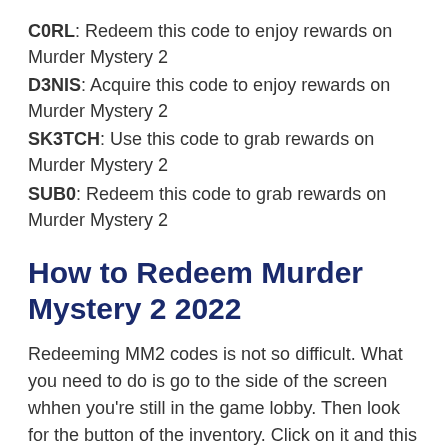C0RL: Redeem this code to enjoy rewards on Murder Mystery 2
D3NIS: Acquire this code to enjoy rewards on Murder Mystery 2
SK3TCH: Use this code to grab rewards on Murder Mystery 2
SUB0: Redeem this code to grab rewards on Murder Mystery 2
How to Redeem Murder Mystery 2 2022
Redeeming MM2 codes is not so difficult. What you need to do is go to the side of the screen whhen you’re still in the game lobby. Then look for the button of the inventory. Click on it and this picture below is what will